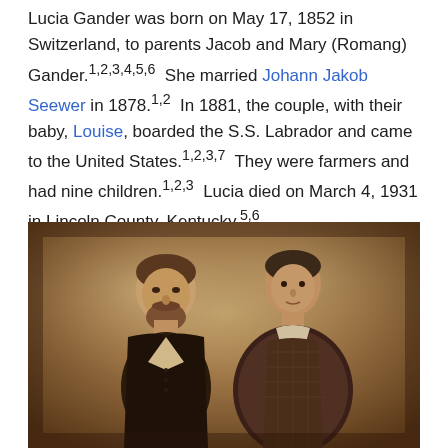Lucia Gander was born on May 17, 1852 in Switzerland, to parents Jacob and Mary (Romang) Gander.1,2,3,4,5,6  She married Johann Jakob Seewer in 1878.1,2  In 1881, the couple, with their baby, Louise, boarded the S.S. Labrador and came to the United States.1,2,3,7  They were farmers and had nine children.1,2,3  Lucia died on March 4, 1931 in Lincoln County, Kentucky.5,6
[Figure (photo): Old sepia-toned photograph of a bearded man on the left wearing a vest, and a woman on the right wearing a patterned dark dress, posed together in a formal portrait style.]